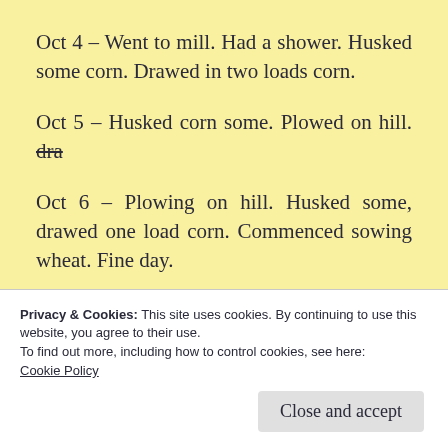Oct 4 – Went to mill. Had a shower. Husked some corn. Drawed in two loads corn.
Oct 5 – Husked corn some. Plowed on hill. dra (strikethrough)
Oct 6 – Plowing on hill. Husked some, drawed one load corn. Commenced sowing wheat. Fine day.
Oct 7 – Husked some corn. Finished sowing
Privacy & Cookies: This site uses cookies. By continuing to use this website, you agree to their use.
To find out more, including how to control cookies, see here: Cookie Policy
Close and accept